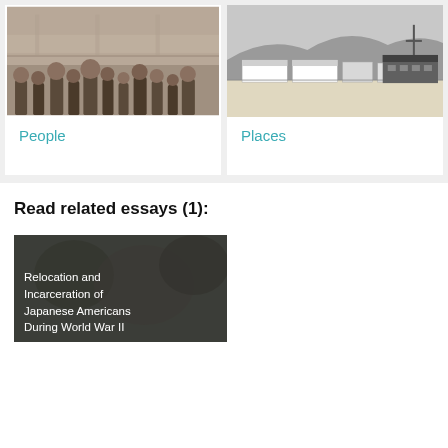[Figure (photo): Black and white photograph of a group of Japanese American people, adults and children, posed together on steps of a building]
People
[Figure (photo): Black and white photograph of barracks-style buildings at a Japanese American internment camp, flat landscape with mountains in background]
Places
Read related essays (1):
[Figure (photo): Dark overlay image with text: Relocation and Incarceration of Japanese Americans During World War II]
Relocation and Incarceration of Japanese Americans During World War II